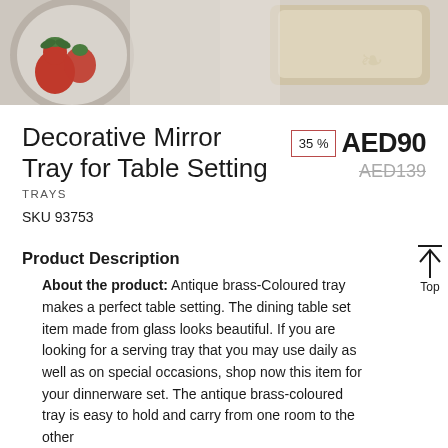[Figure (photo): Product photo of decorative mirror tray with strawberries and tray visible at top of page]
Decorative Mirror Tray for Table Setting
35 % AED90 AED139
TRAYS
SKU 93753
Product Description
About the product: Antique brass-Coloured tray makes a perfect table setting. The dining table set item made from glass looks beautiful. If you are looking for a serving tray that you may use daily as well as on special occasions, shop now this item for your dinnerware set. The antique brass-coloured tray is easy to hold and carry from one room to the other